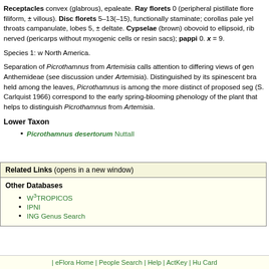Receptacles convex (glabrous), epaleate. Ray florets 0 (peripheral pistillate florets filiform, ± villous). Disc florets 5–13(–15), functionally staminate; corollas pale yel throats campanulate, lobes 5, ± deltate. Cypselae (brown) obovoid to ellipsoid, rib nerved (pericarps without myxogenic cells or resin sacs); pappi 0. x = 9.
Species 1: w North America.
Separation of Picrothamnus from Artemisia calls attention to differing views of gen Anthemideae (see discussion under Artemisia). Distinguished by its spinescent bra held among the leaves, Picrothamnus is among the more distinct of proposed seg (S. Carlquist 1966) correspond to the early spring-blooming phenology of the plant that helps to distinguish Picrothamnus from Artemisia.
Lower Taxon
Picrothamnus desertorum Nuttall
| Related Links (opens in a new window) |
| --- |
| Other Databases |
| W3TROPICOS |
| IPNI |
| ING Genus Search |
| eFlora Home | People Search | Help | ActKey | Hu Card